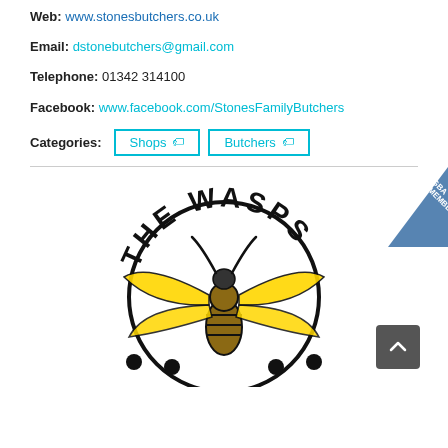Web: www.stonesbutchers.co.uk
Email: dstonebutchers@gmail.com
Telephone: 01342 314100
Facebook: www.facebook.com/StonesFamilyButchers
Categories: Shops  Butchers
[Figure (logo): The Wasps logo — a stylized wasp with yellow wings and black body, with the text 'THE WASPS' arced around it. An 'EGBA MEMBER' banner appears in the top right corner.]